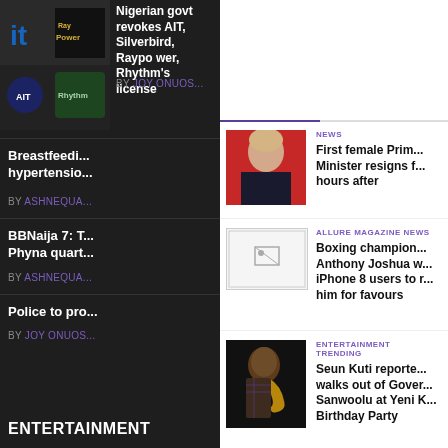[Figure (photo): Logo collage area with RayPower and Rhythm logos on dark background]
Nigerian govt revokes AIT, Silverbird, Raypower, Rhythm's license
BY JOY ONUOS...
Breastfeedi... hypertensio...
BY ASHNEQUA...
BBNaija 7: T... Phyna quart...
BY ASHNEQUA...
Police to pro...
BY JOY ONUOS...
ENTERTAINMENT
[Figure (photo): Female politician with blonde hair in front of red background - First female Prime Minister]
NEWS
First female Prime Minister resigns f... hours after
[Figure (photo): Broken/missing image placeholder for Boxing champion story]
ALLURE MAGAZINE NEWS
Boxing champion Anthony Joshua w... iPhone 8 users to r... him for favours
[Figure (photo): Man playing saxophone - Seun Kuti]
ENTERTAINMENT TRENDING
Seun Kuti reporte... walks out of Gover... Sanwoolu at Yeni K... Birthday Party